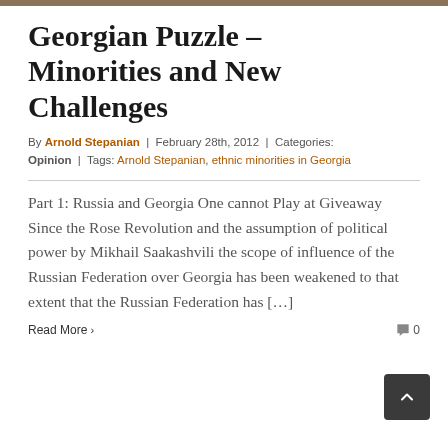Georgian Puzzle – Minorities and New Challenges
By Arnold Stepanian | February 28th, 2012 | Categories: Opinion | Tags: Arnold Stepanian, ethnic minorities in Georgia
Part 1: Russia and Georgia One cannot Play at Giveaway Since the Rose Revolution and the assumption of political power by Mikhail Saakashvili the scope of influence of the Russian Federation over Georgia has been weakened to that extent that the Russian Federation has […]
Read More › 0